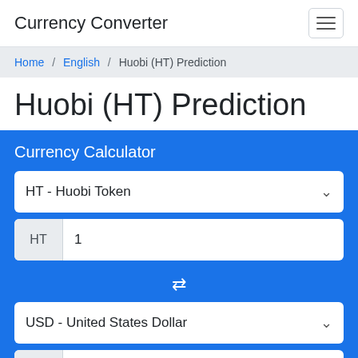Currency Converter
Home / English / Huobi (HT) Prediction
Huobi (HT) Prediction
Currency Calculator
HT - Huobi Token
HT 1
USD - United States Dollar